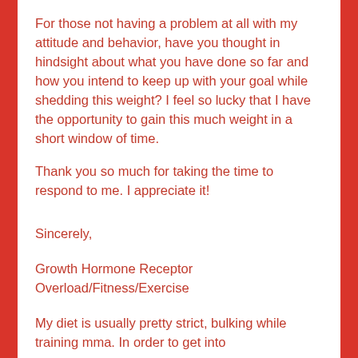For those not having a problem at all with my attitude and behavior, have you thought in hindsight about what you have done so far and how you intend to keep up with your goal while shedding this weight? I feel so lucky that I have the opportunity to gain this much weight in a short window of time.
Thank you so much for taking the time to respond to me. I appreciate it!
Sincerely,
Growth Hormone Receptor Overload/Fitness/Exercise
My diet is usually pretty strict, bulking while training mma. In order to get into